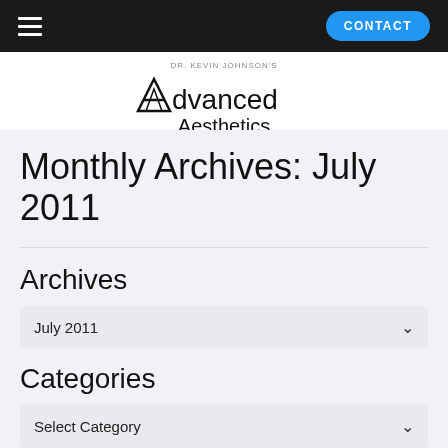≡   CONTACT
[Figure (logo): Advanced Aesthetics logo with stylized A lettermark and Dr. Kevin Johnson's byline]
Monthly Archives: July 2011
Archives
July 2011
Categories
Select Category